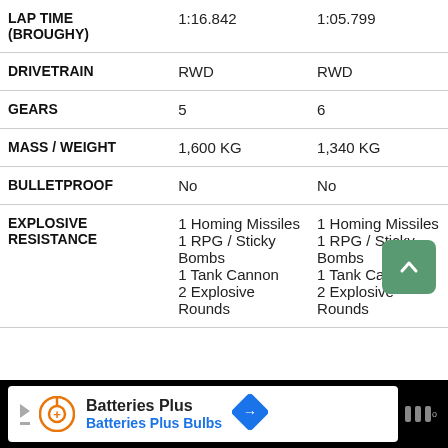|  | Col1 | Col2 |
| --- | --- | --- |
| LAP TIME (BROUGHY) | 1:16.842 | 1:05.799 |
| DRIVETRAIN | RWD | RWD |
| GEARS | 5 | 6 |
| MASS / WEIGHT | 1,600 KG | 1,340 KG |
| BULLETPROOF | No | No |
| EXPLOSIVE RESISTANCE | 1 Homing Missiles
1 RPG / Sticky Bombs
1 Tank Cannon
2 Explosive Rounds | 1 Homing Missiles
1 RPG / Sticky Bombs
1 Tank Cannon
2 Explosive Rounds |
[Figure (other): Scroll to top button (green rounded square with up arrow)]
[Figure (other): Advertisement bar: Batteries Plus / Batteries Plus Bulbs with orange logo and blue navigation icon]